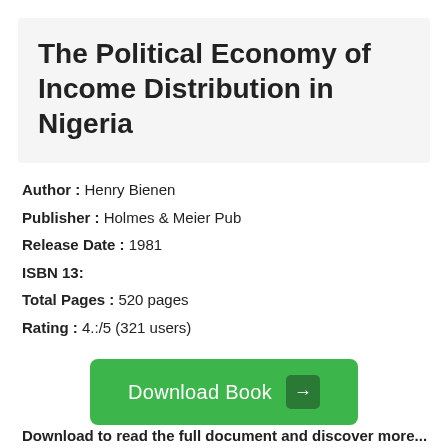The Political Economy of Income Distribution in Nigeria
Author : Henry Bienen
Publisher : Holmes & Meier Pub
Release Date : 1981
ISBN 13:
Total Pages : 520 pages
Rating : 4.:/5 (321 users)
[Figure (other): Green Download Book button with arrow icon]
Download to read the full document and discover more...